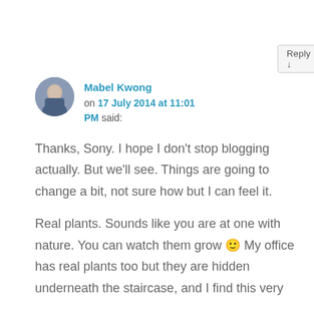Reply ↓
Mabel Kwong on 17 July 2014 at 11:01 PM said:
Thanks, Sony. I hope I don't stop blogging actually. But we'll see. Things are going to change a bit, not sure how but I can feel it.
Real plants. Sounds like you are at one with nature. You can watch them grow 🙂 My office has real plants too but they are hidden underneath the staircase, and I find this very